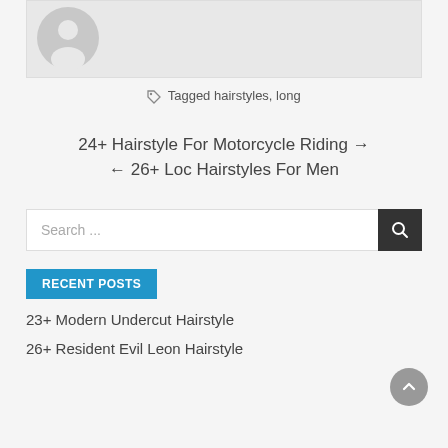[Figure (photo): Gray placeholder avatar icon on light gray background]
Tagged hairstyles, long
24+ Hairstyle For Motorcycle Riding →
← 26+ Loc Hairstyles For Men
Search ...
RECENT POSTS
23+ Modern Undercut Hairstyle
26+ Resident Evil Leon Hairstyle